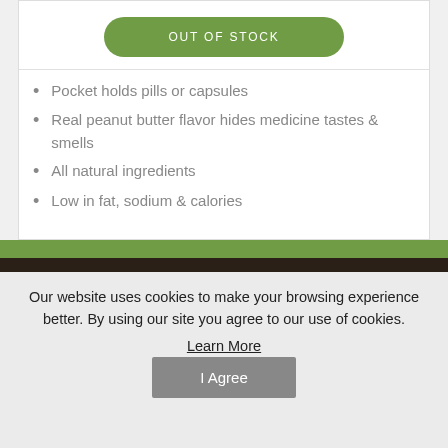OUT OF STOCK
Pocket holds pills or capsules
Real peanut butter flavor hides medicine tastes & smells
All natural ingredients
Low in fat, sodium & calories
Our website uses cookies to make your browsing experience better. By using our site you agree to our use of cookies.
Learn More
I Agree